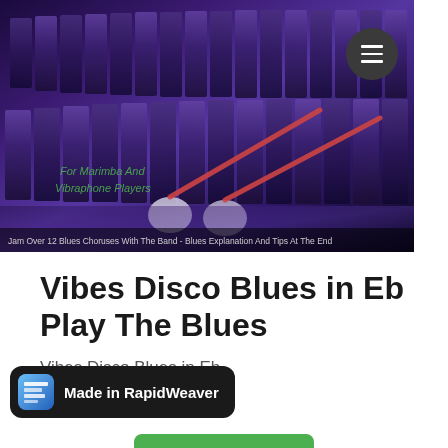[Figure (photo): Close-up photo of a vibraphone/marimba with purple/blue lighting, two mallets resting on the keys. Overlay text reads 'For Marimba And Vibraphone Players'. Bottom caption bar reads 'Jam Over 12 Blues Choruses With The Band - Blues Explanation And Tips At The End']
Vibes Disco Blues in Eb Play The Blues
Vibes Disco Blues in Eb
[Figure (logo): Made in RapidWeaver badge - dark rounded rectangle with blue RapidWeaver app icon and white bold text 'Made in RapidWeaver']